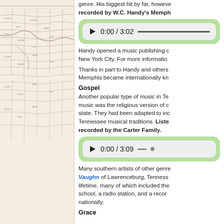[Figure (map): Historical map of Tennessee region showing county lines, rivers, and geographic features in a beige/cream tone with fine line detail]
genre. His biggest hit by far, howeve recorded by W.C. Handy's Memph
[Figure (screenshot): Audio player showing 0:00 / 3:02 with play button and progress bar, green background]
Handy opened a music publishing c New York City. For more informatio
Thanks in part to Handy and others Memphis became internationally kn
Gospel
Another popular type of music in Te music was the religious version of c state. They had been adapted to inc Tennessee musical traditions. Liste recorded by the Carter Family.
[Figure (screenshot): Audio player showing 0:00 / 3:09 with play button and progress bar, green background]
Many southern artists of other genre Vaughn of Lawrenceburg, Tenness lifetime, many of which included the school, a radio station, and a recor nationally.
Grace